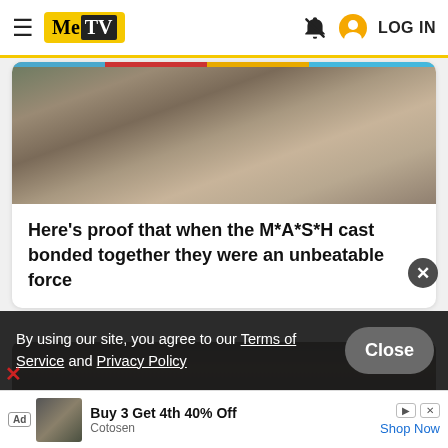MeTV — LOG IN
[Figure (photo): MASH cast members seated together in military-style clothing, cropped photo with colored banner strips at top]
Here's proof that when the M*A*S*H cast bonded together they were an unbeatable force
[Figure (photo): Dark scene from a TV show with figures seated around a table under a lamp]
By using our site, you agree to our Terms of Service and Privacy Policy
Close
Ad  Buy 3 Get 4th 40% Off  Cotosen  Shop Now